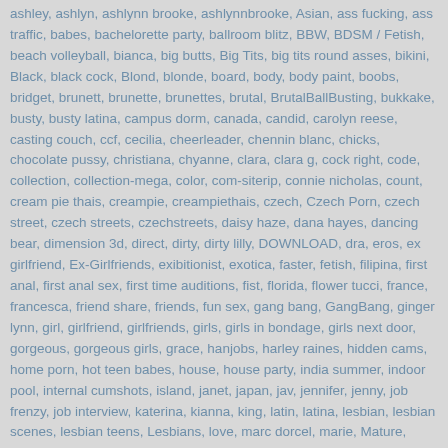ashley, ashlyn, ashlynn brooke, ashlynnbrooke, Asian, ass fucking, ass traffic, babes, bachelorette party, ballroom blitz, BBW, BDSM / Fetish, beach volleyball, bianca, big butts, Big Tits, big tits round asses, bikini, Black, black cock, Blond, blonde, board, body, body paint, boobs, bridget, brunett, brunette, brunettes, brutal, BrutalBallBusting, bukkake, busty, busty latina, campus dorm, canada, candid, carolyn reese, casting couch, ccf, cecilia, cheerleader, chennin blanc, chicks, chocolate pussy, christiana, chyanne, clara, clara g, cock right, code, collection, collection-mega, color, com-siterip, connie nicholas, count, cream pie thais, creampie, creampiethais, czech, Czech Porn, czech street, czech streets, czechstreets, daisy haze, dana hayes, dancing bear, dimension 3d, direct, dirty, dirty lilly, DOWNLOAD, dra, eros, ex girlfriend, Ex-Girlfriends, exibitionist, exotica, faster, fetish, filipina, first anal, first anal sex, first time auditions, fist, florida, flower tucci, france, francesca, friend share, friends, fun sex, gang bang, GangBang, ginger lynn, girl, girlfriend, girlfriends, girls, girls in bondage, girls next door, gorgeous, gorgeous girls, grace, hanjobs, harley raines, hidden cams, home porn, hot teen babes, house, house party, india summer, indoor pool, internal cumshots, island, janet, japan, jav, jennifer, jenny, job frenzy, job interview, katerina, kianna, king, latin, latina, lesbian, lesbian scenes, lesbian teens, Lesbians, love, marc dorcel, marie, Mature, mega, message board, miley, milf, MILFS, milfsoup, mitch-video, model, models, monica, moretti,